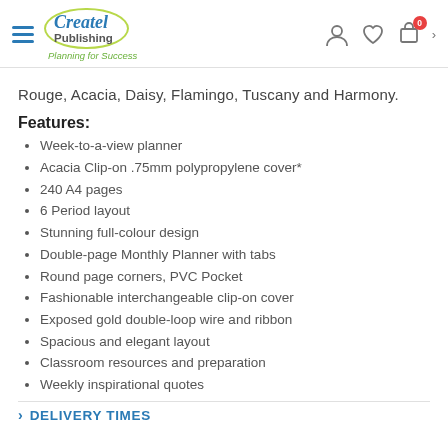Createl Publishing – Planning for Success
Rouge, Acacia, Daisy, Flamingo, Tuscany and Harmony.
Features:
Week-to-a-view planner
Acacia Clip-on .75mm polypropylene cover*
240 A4 pages
6 Period layout
Stunning full-colour design
Double-page Monthly Planner with tabs
Round page corners, PVC Pocket
Fashionable interchangeable clip-on cover
Exposed gold double-loop wire and ribbon
Spacious and elegant layout
Classroom resources and preparation
Weekly inspirational quotes
DELIVERY TIMES